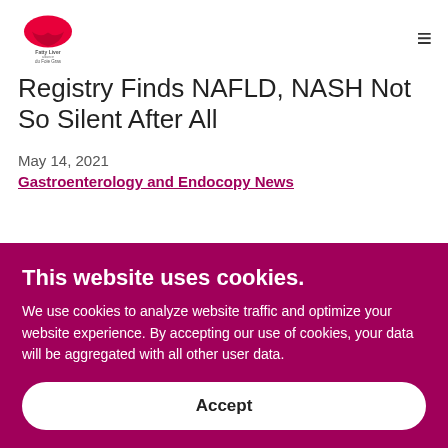Fatty Liver Alliance du Foie Gras
Registry Finds NAFLD, NASH Not So Silent After All
May 14, 2021
Gastroenterology and Endocopy News
This website uses cookies.
We use cookies to analyze website traffic and optimize your website experience. By accepting our use of cookies, your data will be aggregated with all other user data.
Accept